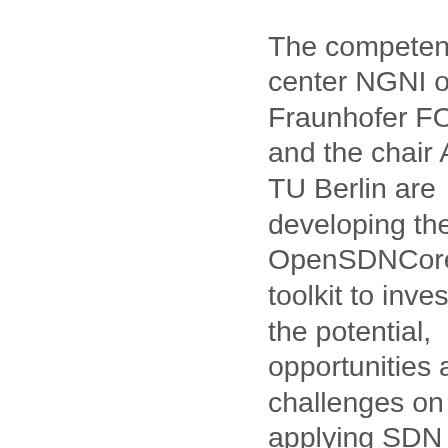The competence center NGNI of Fraunhofer FOKSU and the chair AV of TU Berlin are developing the new OpenSDNCore toolkit to investigate the potential, opportunities and challenges on applying SDN principles on telecommunication networks.
Having a large historical background on research and development on telecommunication networks, we are now investigating the impact